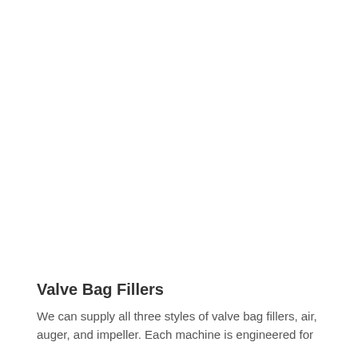Valve Bag Fillers
We can supply all three styles of valve bag fillers, air, auger, and impeller. Each machine is engineered for